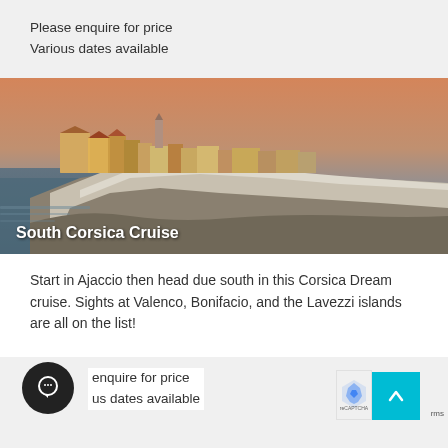Please enquire for price
Various dates available
[Figure (photo): Coastal cliffside city of Bonifacio, Corsica at dusk, with stone buildings perched atop white limestone cliffs above the sea, with text overlay 'South Corsica Cruise']
Start in Ajaccio then head due south in this Corsica Dream cruise. Sights at Valenco, Bonifacio, and the Lavezzi islands are all on the list!
enquire for price
us dates available